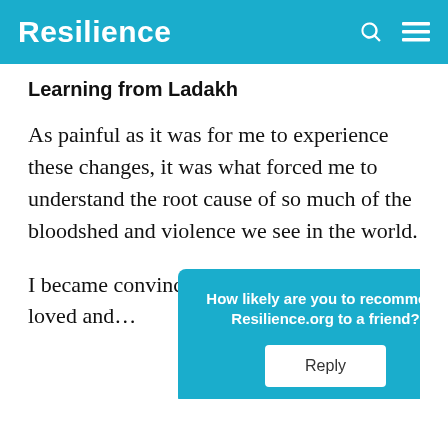Resilience
Learning from Ladakh
As painful as it was for me to experience these changes, it was what forced me to understand the root cause of so much of the bloodshed and violence we see in the world.
I became convinced that it is the need to be loved and… drives us as h…
[Figure (other): Survey popup overlay asking 'How likely are you to recommend Resilience.org to a friend?' with a Reply button and a close/chevron button.]